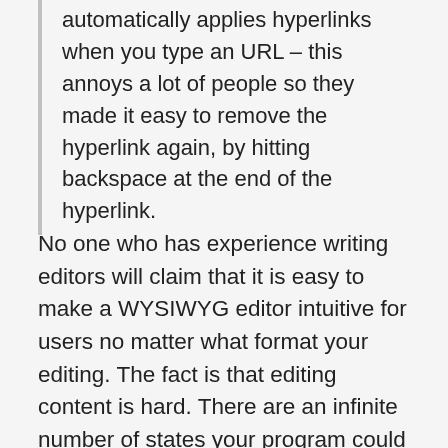automatically applies hyperlinks when you type an URL – this annoys a lot of people so they made it easy to remove the hyperlink again, by hitting backspace at the end of the hyperlink.
No one who has experience writing editors will claim that it is easy to make a WYSIWYG editor intuitive for users no matter what format your editing. The fact is that editing content is hard. There are an infinite number of states your program could be in4 and a vast number of user actions to handle. Identifying all the possible things that a user wants to do and how they are going to try to do